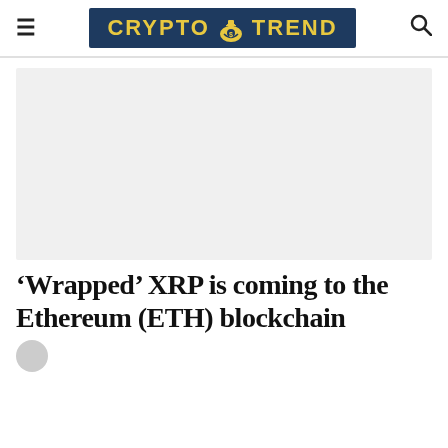CRYPTO TREND
[Figure (other): Advertisement placeholder area, light gray background]
'Wrapped' XRP is coming to the Ethereum (ETH) blockchain